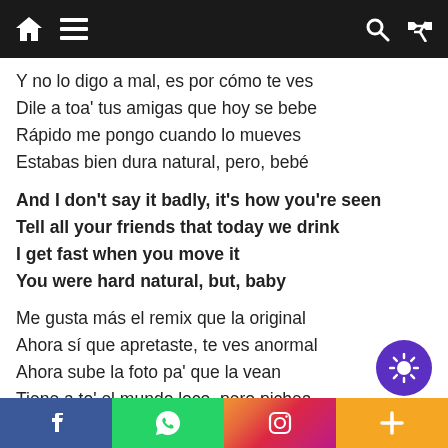Navigation bar with home, menu, search, shuffle icons
Y no lo digo a mal, es por cómo te ves
Dile a toa' tus amigas que hoy se bebe
Rápido me pongo cuando lo mueves
Estabas bien dura natural, pero, bebé
And I don't say it badly, it's how you're seen
Tell all your friends that today we drink
I get fast when you move it
You were hard natural, but, baby
Me gusta más el remix que la original
Ahora sí que apretaste, te ves anormal
Ahora sube la foto pa' que la vean
Tiene a to' el mundo loco, pero pichea
Me gusta más el remix que la original
Facebook | WhatsApp | Instagram | More